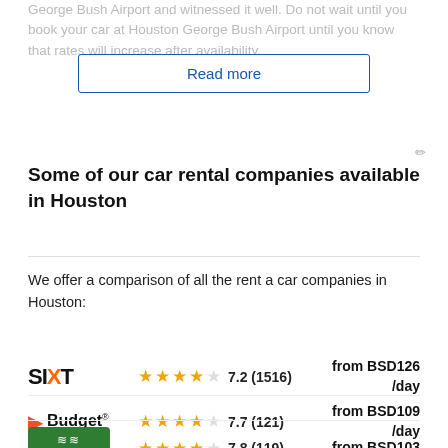George Bush Airport and witnessed it well. Do not wait until you book your car at Houston George Bush Airport until you know that rates will increase after availability.
Read more
Some of our car rental companies available in Houston
We offer a comparison of all the rent a car companies in Houston:
| Company | Rating | Reviews | Price |
| --- | --- | --- | --- |
| Sixt | 7.2 | (1516) | from BSD126 /day |
| Budget | 7.7 | (121) | from BSD109 /day |
| National | 7.8 | (119) | from BSD103 /day |